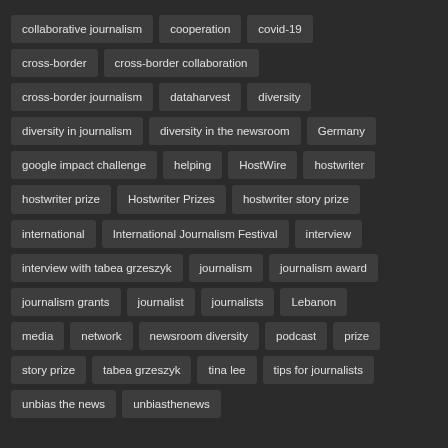collaborative journalism
cooperation
covid-19
cross-border
cross-border collaboration
cross-border journalism
dataharvest
diversity
diversity in journalism
diversity in the newsroom
Germany
google impact challenge
helping
HostWire
hostwriter
hostwriter prize
Hostwriter Prizes
hostwriter story prize
international
International Journalism Festival
interview
interview with tabea grzeszyk
journalism
journalism award
journalism grants
journalist
journalists
Lebanon
media
network
newsroom diversity
podcast
prize
story prize
tabea grzeszyk
tina lee
tips for journalists
unbias the news
unbiasthenews